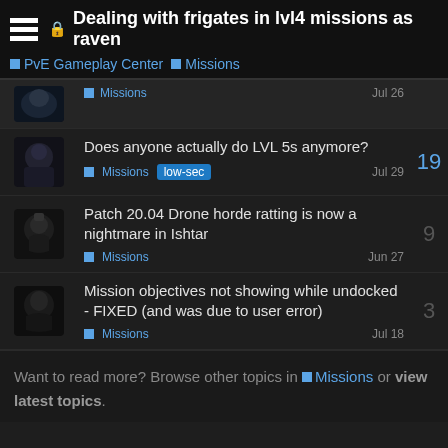Dealing with frigates in lvl4 missions as raven
PvE Gameplay Center  Missions
Missions  Jul 26
Does anyone actually do LVL 5s anymore?  Missions  low-sec  Jul 29  19
Patch 20.04 Drone horde ratting is now a nightmare in Ishtar  Missions  Jun 27  9
Mission objectives not showing while undocked - FIXED (and was due to user error)  Missions  Jul 18  3
Want to read more? Browse other topics in Missions or view latest topics.